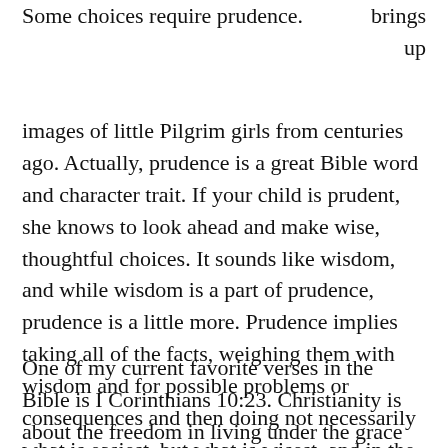Some choices require prudence. brings up images of little Pilgrim girls from centuries ago. Actually, prudence is a great Bible word and character trait. If your child is prudent, she knows to look ahead and make wise, thoughtful choices. It sounds like wisdom, and while wisdom is a part of prudence, prudence is a little more. Prudence implies taking all of the facts, weighing them with wisdom and for possible problems or consequences and then doing not necessarily what is easiest, but what is wisest, and in the case of Christians, godly.
One of my current favorite verses in the Bible is I Corinthians 10:23. Christianity is about the freedom in living under the grace of God. Christians are not burdened by never-ending lists of acceptable and unacceptable behaviors. While the authors of the